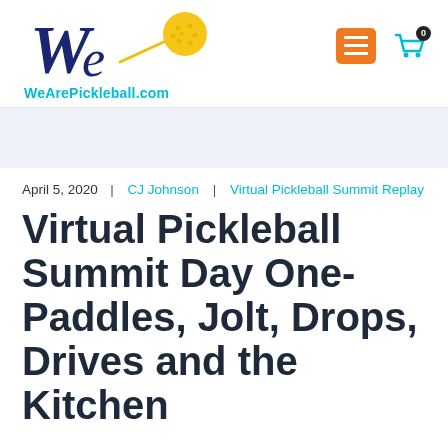[Figure (logo): WeArePickleball.com logo with stylized 'We' text and a yellow pickleball on a paddle]
[Figure (infographic): Orange hamburger menu icon and teal shopping cart icon with badge showing 0]
April 5, 2020  |  CJ Johnson  |  Virtual Pickleball Summit Replay
Virtual Pickleball Summit Day One- Paddles, Jolt, Drops, Drives and the Kitchen